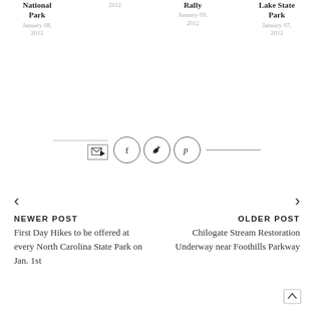National Park
January 08, 2012
2012
Rally
January 09, 2012
... Lake State Park
January 07, 2012
[Figure (infographic): Social sharing icons: email forward icon, and three circular icons for Facebook (f), Twitter (bird), and Pinterest (P), flanked by horizontal rules on each side]
< NEWER POST
First Day Hikes to be offered at every North Carolina State Park on Jan. 1st
> OLDER POST
Chilogate Stream Restoration Underway near Foothills Parkway